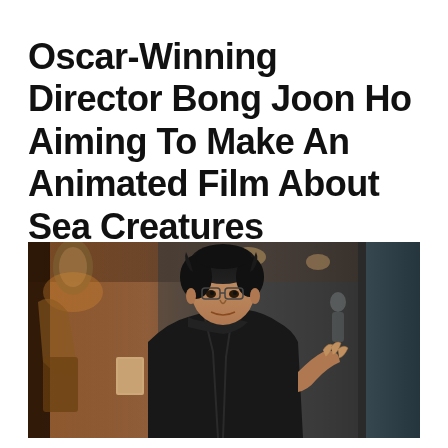Oscar-Winning Director Bong Joon Ho Aiming To Make An Animated Film About Sea Creatures
[Figure (photo): A man with curly black hair and glasses, wearing a dark jacket, gesturing with his hand on a film set with various equipment and props visible in the background.]